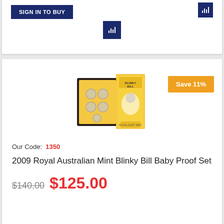SIGN IN TO BUY
[Figure (screenshot): Dark blue bar chart icon button]
[Figure (photo): 2009 Royal Australian Mint Blinky Bill Baby Proof Set coin set in black display case with yellow Blinky Bill book/sleeve]
Save 11%
Our Code: 1350
2009 Royal Australian Mint Blinky Bill Baby Proof Set
$140.00 $125.00
Proof Set-Baby